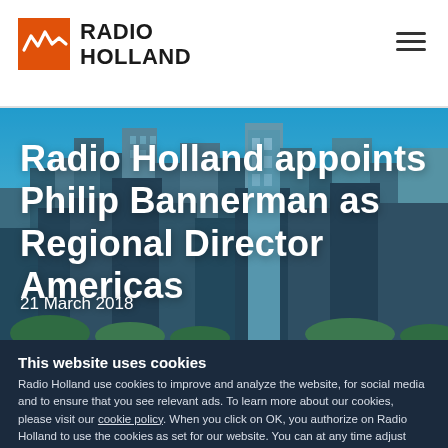[Figure (logo): Radio Holland logo with orange wave icon and bold black text reading RADIO HOLLAND]
[Figure (photo): City skyline with tall glass skyscrapers against a bright blue sky, overlaid with large white headline text and date]
Radio Holland appoints Philip Bannerman as Regional Director Americas
21 March 2018
This website uses cookies
Radio Holland use cookies to improve and analyze the website, for social media and to ensure that you see relevant ads. To learn more about our cookies, please visit our cookie policy. When you click on OK, you authorize on Radio Holland to use the cookies as set for our website. You can at any time adjust your cookie preferences here.